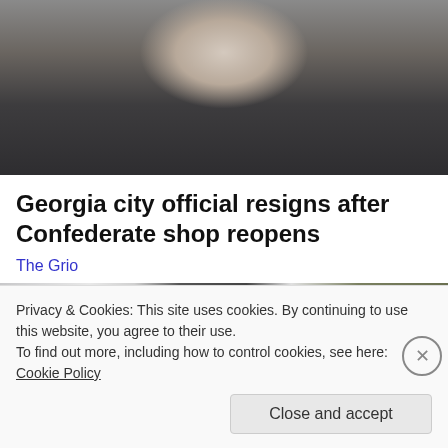[Figure (photo): Close-up photo of a man's face and neck, wearing a dark suit jacket and light colored shirt, against a grey background. Only lower portion of face and upper torso visible.]
Georgia city official resigns after Confederate shop reopens
The Grio
[Figure (photo): Photo showing a person in dark clothing near what appears to be a white vehicle, with pink items visible and outdoor scenery in the background.]
Privacy & Cookies: This site uses cookies. By continuing to use this website, you agree to their use.
To find out more, including how to control cookies, see here: Cookie Policy
Close and accept